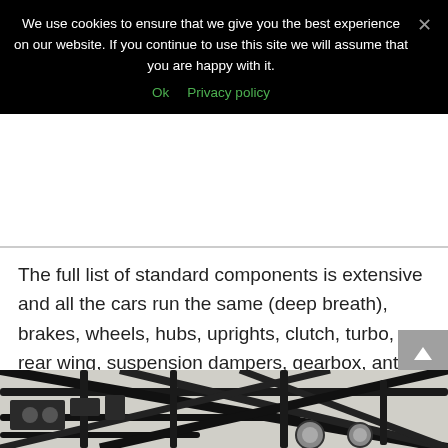We use cookies to ensure that we give you the best experience on our website. If you continue to use this site we will assume that you are happy with it.
Ok   Privacy policy
The full list of standard components is extensive and all the cars run the same (deep breath), brakes, wheels, hubs, uprights, clutch, turbo, rear wing, suspension dampers, gearbox, anti-roll bars, intercooler, wiring loom, ECU, dash (are you bored of this yet?), fuel tank, air jacks, fire extinguisher and tyres.
[Figure (photo): Photo of a racing car chassis/frame structure, showing black metal tube frame with cross bracing and wheels visible, photographed against a light background.]